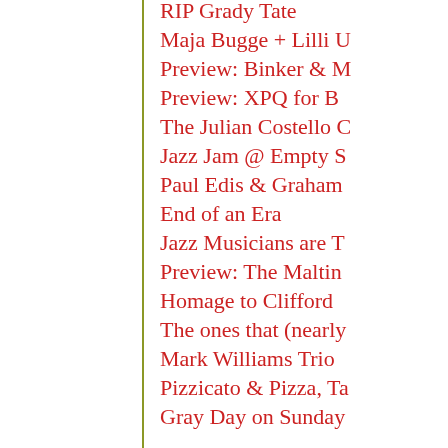RIP Grady Tate
Maja Bugge + Lilli U…
Preview: Binker & M…
Preview: XPQ for B…
The Julian Costello C…
Jazz Jam @ Empty S…
Paul Edis & Graham…
End of an Era
Jazz Musicians are T…
Preview: The Maltin…
Homage to Clifford …
The ones that (nearly…
Mark Williams Trio …
Pizzicato & Pizza, Ta…
Gray Day on Sunday…